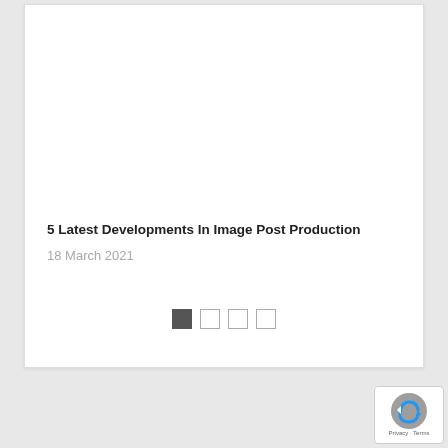5 Latest Developments In Image Post Production
18 March 2021
[Figure (other): Pagination dots showing 4 slide indicators, first one filled/active]